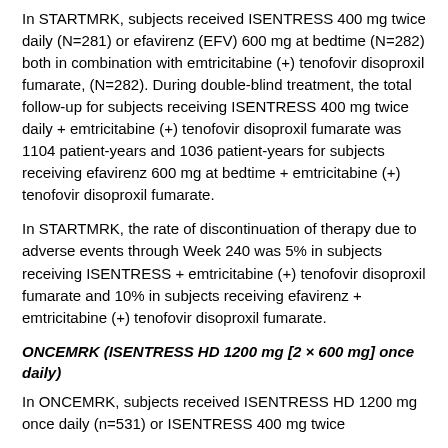In STARTMRK, subjects received ISENTRESS 400 mg twice daily (N=281) or efavirenz (EFV) 600 mg at bedtime (N=282) both in combination with emtricitabine (+) tenofovir disoproxil fumarate, (N=282). During double-blind treatment, the total follow-up for subjects receiving ISENTRESS 400 mg twice daily + emtricitabine (+) tenofovir disoproxil fumarate was 1104 patient-years and 1036 patient-years for subjects receiving efavirenz 600 mg at bedtime + emtricitabine (+) tenofovir disoproxil fumarate.
In STARTMRK, the rate of discontinuation of therapy due to adverse events through Week 240 was 5% in subjects receiving ISENTRESS + emtricitabine (+) tenofovir disoproxil fumarate and 10% in subjects receiving efavirenz + emtricitabine (+) tenofovir disoproxil fumarate.
ONCEMRK (ISENTRESS HD 1200 mg [2 × 600 mg] once daily)
In ONCEMRK, subjects received ISENTRESS HD 1200 mg once daily (n=531) or ISENTRESS 400 mg twice